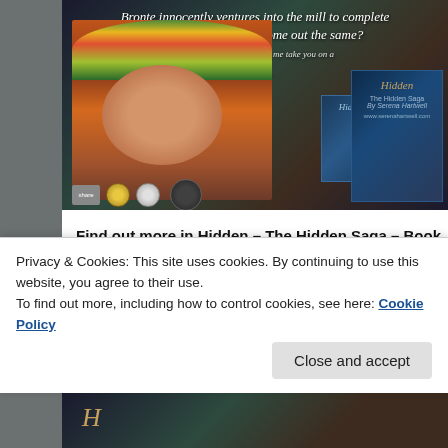[Figure (illustration): Book promotional image for 'Hidden – The Hidden Saga' by Serena Hartwell. Shows a young woman with a flower crown with text overlay: 'Bronte innocently ventures into the mill to complete her dare, but will she come out the same?' and 'Step into my world and let me take you on a journey...' Book covers and medals shown at bottom.]
Find out more in Hidden – The Hidden Saga – Book 1.
Official selection of the 2017 New Apple Book Awards for Excellence in Independent Publishing – Young Adult Fantasy category –
http://www.newappleliterary.com/2017awards/2017awardsCat19.ht
Privacy & Cookies: This site uses cookies. By continuing to use this website, you agree to their use.
To find out more, including how to control cookies, see here: Cookie Policy
Close and accept